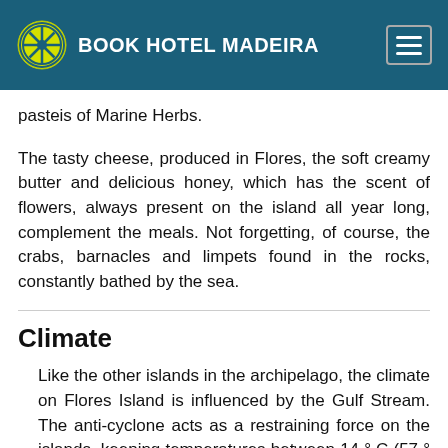BOOK HOTEL MADEIRA
pasteis of Marine Herbs.
The tasty cheese, produced in Flores, the soft creamy butter and delicious honey, which has the scent of flowers, always present on the island all year long, complement the meals. Not forgetting, of course, the crabs, barnacles and limpets found in the rocks, constantly bathed by the sea.
Climate
Like the other islands in the archipelago, the climate on Flores Island is influenced by the Gulf Stream. The anti-cyclone acts as a restraining force on the islands, keeping temperatures between 14 ° C (57 ° F) and 27 ° C (80 ° F) throughout the year. The location of the Flores